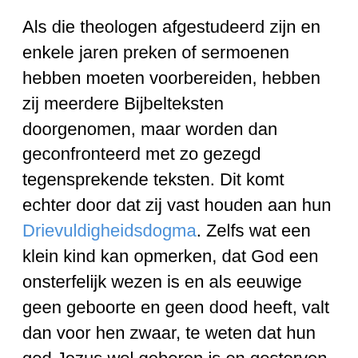Als die theologen afgestudeerd zijn en enkele jaren preken of sermoenen hebben moeten voorbereiden, hebben zij meerdere Bijbelteksten doorgenomen, maar worden dan geconfronteerd met zo gezegd tegensprekende teksten. Dit komt echter door dat zij vast houden aan hun Drievuldigheid dogma. Zelfs wat een klein kind kan opmerken, dat God een onsterfelijk wezen is en als eeuwige geen geboorte en geen dood heeft, valt dan voor hen zwaar, te weten dat hun god Jezus wel geboren is en gestorven is. In plaats van hun Drie-eenheidsleer te verwerpen verkiezen zij eerder God te verwerpen.
Bij vele kerkgemeenschappen kan men zien dat de onsterfelijke of onvergankelijke onzichtbare God vervangen is geworden door zichtbare afbeeldingen,